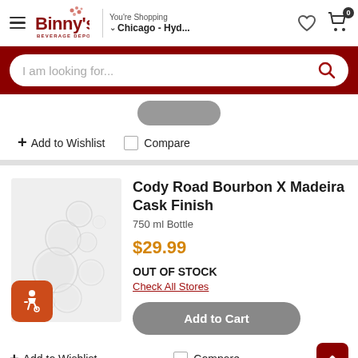Binny's Beverage Depot — You're Shopping Chicago - Hyd...
I am looking for...
+ Add to Wishlist   Compare
Cody Road Bourbon X Madeira Cask Finish
750 ml Bottle
$29.99
OUT OF STOCK
Check All Stores
Add to Cart
+ Add to Wishlist   Compare